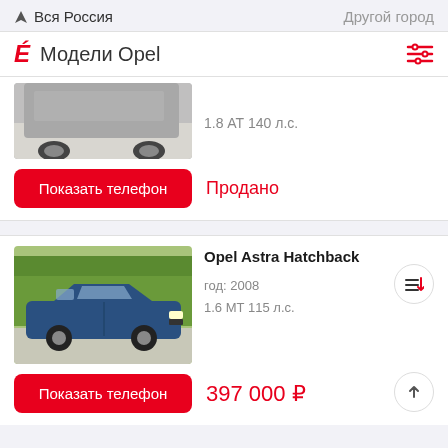Вся Россия  |  Другой город
Модели Opel
1.8 АТ 140 л.с.
Показать телефон
Продано
[Figure (photo): Blue Opel Astra Hatchback 2008 parked in a parking lot with trees in background]
Opel Astra Hatchback
год: 2008
1.6 МТ 115 л.с.
Показать телефон
397 000 ₽